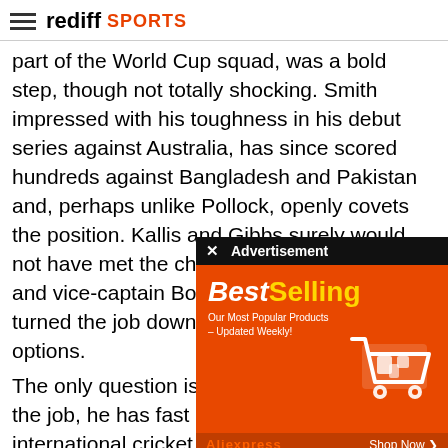rediff SPORTS
part of the World Cup squad, was a bold step, though not totally shocking. Smith impressed with his toughness in his debut series against Australia, has since scored hundreds against Bangladesh and Pakistan and, perhaps unlike Pollock, openly covets the position. Kallis and Gibbs surely would not have met the character requirements, and vice-captain Boucher said he would have turned the job down. There were few other options.
The only question is whether S... gaining the job, he has fast be... captain in international cricket... disruptive, calling Bob Woolm... remarkably open in his ambitio... three months than his predece...
[Figure (screenshot): Advertisement overlay showing 'BestSelling - Our Most Popular Products - Updated Weekly!' on orange background with shopping cart graphic, AliExpress branding and Shop Now button]
South Africa's tour of England should provide an early indication of whether Smith is an impertinent youngster yet to earn the right to be as brazen as he has, or whether he is just the single-minded character South...